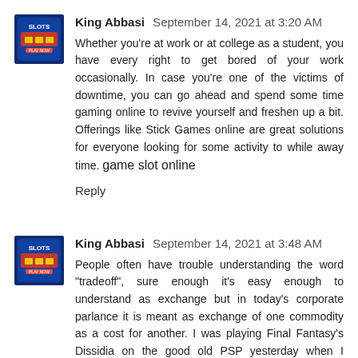[Figure (photo): Avatar image for King Abbasi showing a slot machine game icon with SLOTS text on blue background]
King Abbasi September 14, 2021 at 3:20 AM
Whether you're at work or at college as a student, you have every right to get bored of your work occasionally. In case you're one of the victims of downtime, you can go ahead and spend some time gaming online to revive yourself and freshen up a bit. Offerings like Stick Games online are great solutions for everyone looking for some activity to while away time. game slot online
Reply
[Figure (photo): Avatar image for King Abbasi showing a slot machine game icon with SLOTS text on blue background]
King Abbasi September 14, 2021 at 3:48 AM
People often have trouble understanding the word "tradeoff", sure enough it's easy enough to understand as exchange but in today's corporate parlance it is meant as exchange of one commodity as a cost for another. I was playing Final Fantasy's Dissidia on the good old PSP yesterday when I marveled at the game's replay value, yes I have spent over 50 hours on it already, which is what this entire topic is all about. Normally if you look at the oldest